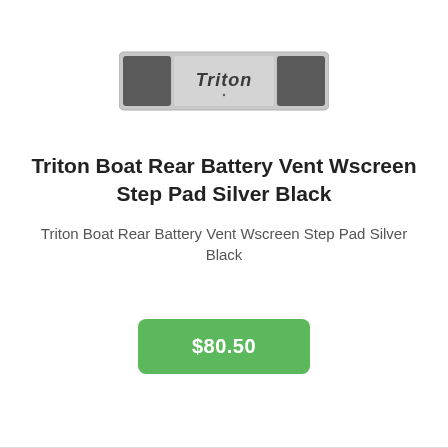[Figure (photo): A rectangular silver step pad with black Triton logo lettering in the center, flanked by dark grey rubber grip panels on each side.]
Triton Boat Rear Battery Vent Wscreen Step Pad Silver Black
Triton Boat Rear Battery Vent Wscreen Step Pad Silver Black
$80.50